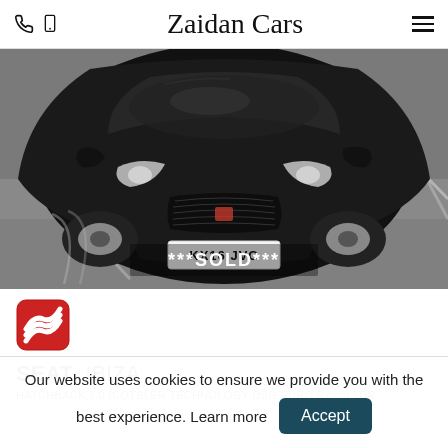Zaidan Cars
[Figure (photo): Black SEAT Ibiza car photographed from above/front in a parking lot, with registration plate KX16 JVC. A white text overlay reads ***SOLD***.]
[Figure (logo): SEAT brand logo — red rounded square with stylized S mark in silver/white]
SEAT IBIZA
HATCHBACK 1.0 [CQTSLER TECHNOLOGY DSG EURO 6 (s/s) 5DR
Our website uses cookies to ensure we provide you with the best experience. Learn more
Accept